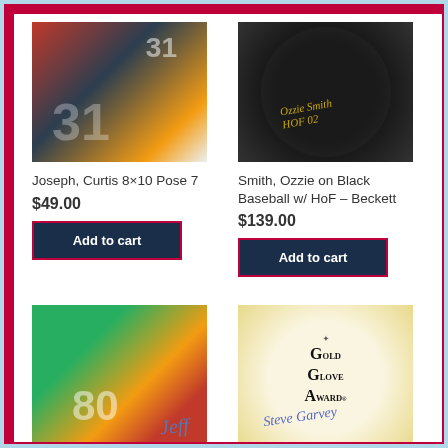[Figure (photo): Curtis Joseph hockey goalie 8x10 photo, pose 7, player wearing jersey number 31]
Joseph, Curtis 8×10 Pose 7
$49.00
Add to cart
[Figure (photo): Ozzie Smith signed black baseball with HoF inscription, authenticated by Beckett]
Smith, Ozzie on Black Baseball w/ HoF – Beckett
$139.00
Add to cart
[Figure (photo): Isaac Bruce football 8x10 photo, player wearing number 80 rams uniform running with ball, signed]
Bruce, Isaac 8×10 Pose
[Figure (photo): Steve Garvey signed Gold Glove Award baseball with signature in blue]
Garvey, Steve on Gold